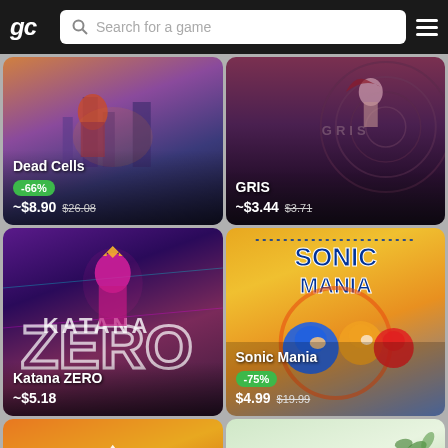[Figure (screenshot): Game store app header with GC logo, search bar reading 'Search for a game', and hamburger menu icon on dark background]
[Figure (screenshot): Dead Cells game card with dark fantasy artwork, -66% discount badge, price ~$8.90 crossed out $26.08]
[Figure (screenshot): GRIS game card with dark atmospheric artwork, price ~$3.44 crossed out $3.71]
[Figure (screenshot): Katana ZERO game card with purple/pink action artwork, price ~$5.18]
[Figure (screenshot): Sonic Mania game card with yellow/orange artwork showing Sonic, Tails, Knuckles, -75% discount badge, price $4.99 crossed out $19.99]
[Figure (screenshot): Partial bottom-left orange card with white mountain/house icon]
[Figure (screenshot): Partial bottom-right card showing 'NIGHT' text in dark stylized font with leaf decorations]